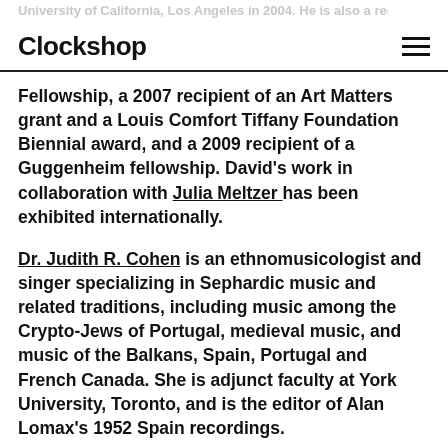Clockshop
Fellowship, a 2007 recipient of an Art Matters grant and a Louis Comfort Tiffany Foundation Biennial award, and a 2009 recipient of a Guggenheim fellowship. David's work in collaboration with Julia Meltzer has been exhibited internationally.
Dr. Judith R. Cohen is an ethnomusicologist and singer specializing in Sephardic music and related traditions, including music among the Crypto-Jews of Portugal, medieval music, and music of the Balkans, Spain, Portugal and French Canada. She is adjunct faculty at York University, Toronto, and is the editor of Alan Lomax's 1952 Spain recordings.
Rabbi Jill Berkson Zimmerman, M.Ed. is the